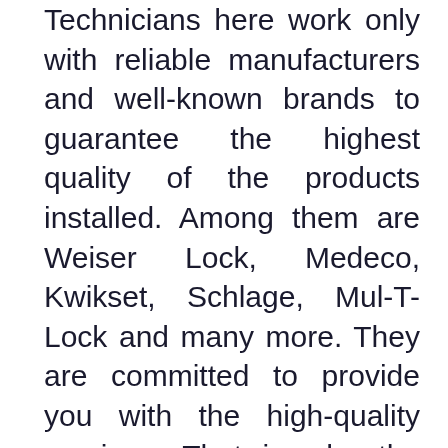Technicians here work only with reliable manufacturers and well-known brands to guarantee the highest quality of the products installed. Among them are Weiser Lock, Medeco, Kwikset, Schlage, Mul-T-Lock and many more. They are committed to provide you with the high-quality services. That is why the tools that are used are up-to-date with the latest trends on locksmith market. The specialized supplies and equipment Locksmiths VA use are provided by reliable world-known brands such as JET, Framon, South Ord, HPC Wenxing, as well as many